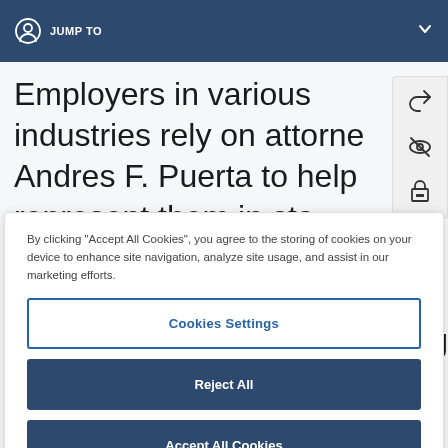JUMP TO
Employers in various industries rely on attorney Andres F. Puerta to help represent them in state and federal court in a broad range of labor and employment matters, including wage and hour
By clicking “Accept All Cookies”, you agree to the storing of cookies on your device to enhance site navigation, analyze site usage, and assist in our marketing efforts.
Cookies Settings
Reject All
Accept All Cookies